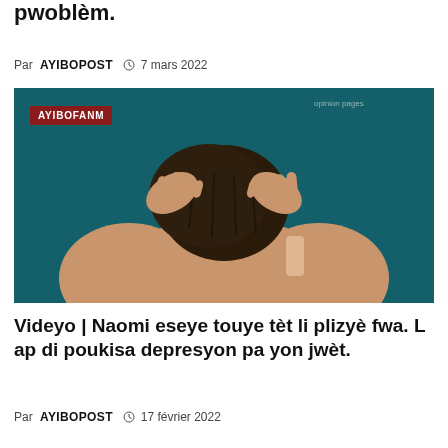pwoblèm.
Par AYIBOPOST  7 mars 2022
[Figure (photo): Person with hands on head, viewed from behind, against a teal/dark background. Red badge in upper left reads AYIBOFANM.]
Videyo | Naomi eseye touye tèt li plizyè fwa. L ap di poukisa depresyon pa yon jwèt.
Par AYIBOPOST  17 février 2022